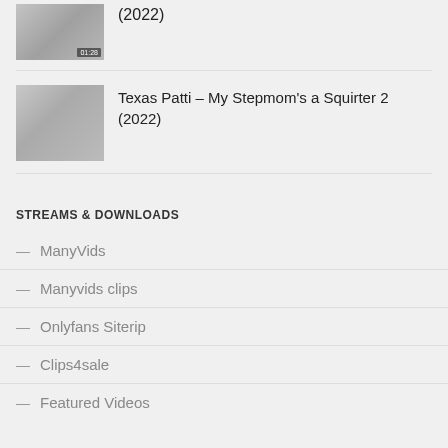[Figure (photo): Thumbnail image of video content at top of page, partially cropped]
(2022)
[Figure (photo): Thumbnail image for Texas Patti – My Stepmom's a Squirter 2 (2022)]
Texas Patti – My Stepmom's a Squirter 2 (2022)
STREAMS & DOWNLOADS
ManyVids
Manyvids clips
Onlyfans Siterip
Clips4sale
Featured Videos